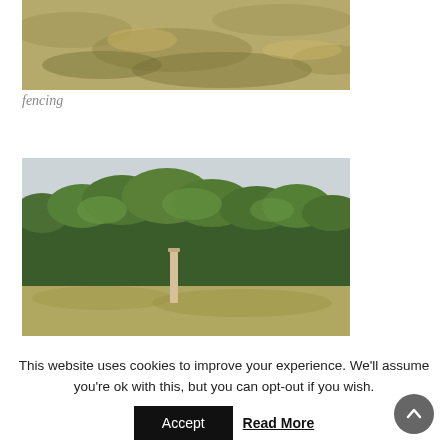[Figure (photo): Photograph of dry grassy hillside terrain, appearing to show an area with fencing or farmland.]
fencing
[Figure (photo): Photograph of a dense green hedgerow or shrubby vegetation on a grass field, with a wooden post visible in the center, and misty hills in the background.]
This website uses cookies to improve your experience. We'll assume you're ok with this, but you can opt-out if you wish.
Accept
Read More